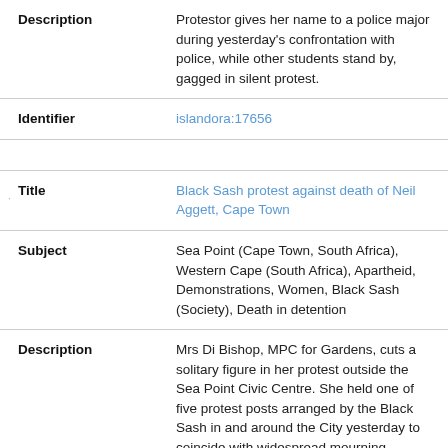| Field | Value |
| --- | --- |
| Description | Protestor gives her name to a police major during yesterday's confrontation with police, while other students stand by, gagged in silent protest. |
| Identifier | islandora:17656 |
| Title | Black Sash protest against death of Neil Aggett, Cape Town |
| Subject | Sea Point (Cape Town, South Africa), Western Cape (South Africa), Apartheid, Demonstrations, Women, Black Sash (Society), Death in detention |
| Description | Mrs Di Bishop, MPC for Gardens, cuts a solitary figure in her protest outside the Sea Point Civic Centre. She held one of five protest posts arranged by the Black Sash in and around the City yesterday to coincide with widespread mourning |